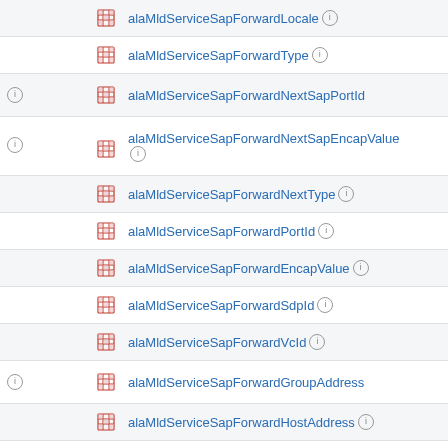alaMldServiceSapForwardLocale
alaMldServiceSapForwardType
alaMldServiceSapForwardNextSapPortId
alaMldServiceSapForwardNextSapEncapValue
alaMldServiceSapForwardNextType
alaMldServiceSapForwardPortId
alaMldServiceSapForwardEncapValue
alaMldServiceSapForwardSdpId
alaMldServiceSapForwardVcId
alaMldServiceSapForwardGroupAddress
alaMldServiceSapForwardHostAddress
alaMldServiceSapForwardDestAddress
alaMldServiceSapForwardOrigAddress
alaMldServiceSdpBindForwardTable